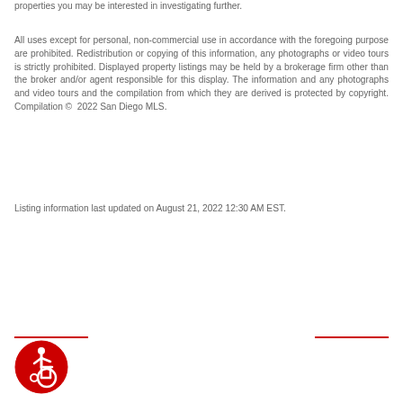properties you may be interested in investigating further.
All uses except for personal, non-commercial use in accordance with the foregoing purpose are prohibited. Redistribution or copying of this information, any photographs or video tours is strictly prohibited. Displayed property listings may be held by a brokerage firm other than the broker and/or agent responsible for this display. The information and any photographs and video tours and the compilation from which they are derived is protected by copyright. Compilation © 2022 San Diego MLS.
Listing information last updated on August 21, 2022 12:30 AM EST.
[Figure (logo): Accessibility icon — wheelchair symbol in a red circle]